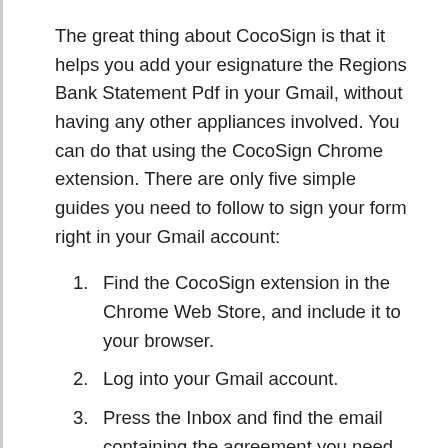The great thing about CocoSign is that it helps you add your esignature the Regions Bank Statement Pdf in your Gmail, without having any other appliances involved. You can do that using the CocoSign Chrome extension. There are only five simple guides you need to follow to sign your form right in your Gmail account:
Find the CocoSign extension in the Chrome Web Store, and include it to your browser.
Log into your Gmail account.
Press the Inbox and find the email containing the agreement you need to